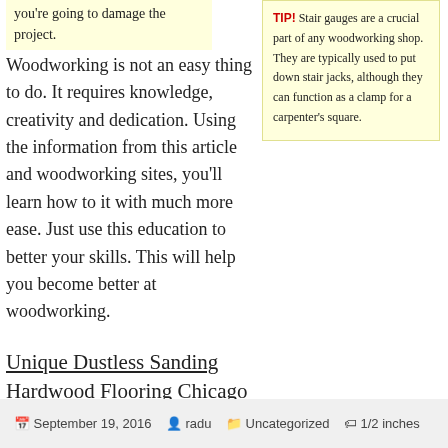you're going to damage the project.
TIP! Stair gauges are a crucial part of any woodworking shop. They are typically used to put down stair jacks, although they can function as a clamp for a carpenter's square.
Woodworking is not an easy thing to do. It requires knowledge, creativity and dedication. Using the information from this article and woodworking sites, you'll learn how to it with much more ease. Just use this education to better your skills. This will help you become better at woodworking.
Unique Dustless Sanding Hardwood Flooring Chicago
September 19, 2016  radu  Uncategorized  1/2 inches